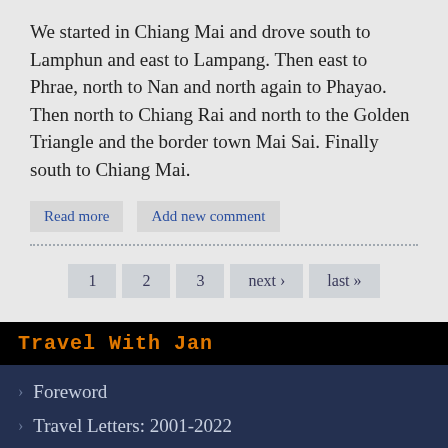We started in Chiang Mai and drove south to Lamphun and east to Lampang. Then east to Phrae, north to Nan and north again to Phayao. Then north to Chiang Rai and north to the Golden Triangle and the border town Mai Sai. Finally south to Chiang Mai.
Read more
Add new comment
1  2  3  next ›  last »
Travel With Jan
Foreword
Travel Letters: 2001-2022
Sail with Jan
Slide Shows  »
Photo Galleries
Video Galleries
Am Yisrael